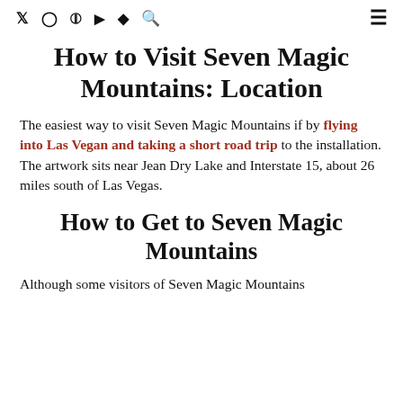social icons and hamburger menu
How to Visit Seven Magic Mountains: Location
The easiest way to visit Seven Magic Mountains if by flying into Las Vegan and taking a short road trip to the installation. The artwork sits near Jean Dry Lake and Interstate 15, about 26 miles south of Las Vegas.
How to Get to Seven Magic Mountains
Although some visitors of Seven Magic Mountains